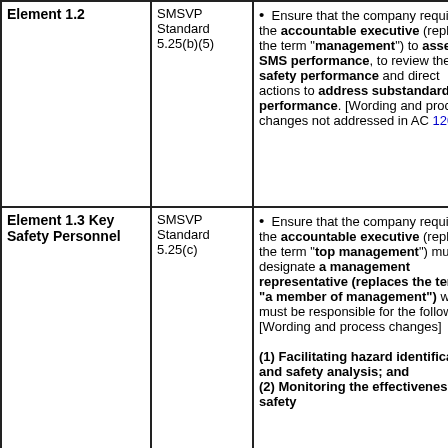| Element | Standard | Description |
| --- | --- | --- |
| Element 1.2 | SMSVP Standard 5.25(b)(5) | Ensure that the company requires the accountable executive (replaces the term "management") to assess SMS performance, to review the safety performance and direct actions to address substandard performance. [Wording and process changes not addressed in AC 120-9...] |
| Element 1.3 Key Safety Personnel | SMSVP Standard 5.25(c) | Ensure that the company requires the accountable executive (replaces the term "top management") must designate a management representative (replaces the term "a member of management") who must be responsible for the following: [Wording and process changes...] (1) Facilitating hazard identification and safety analysis; and (2) Monitoring the effectiveness of safety... |